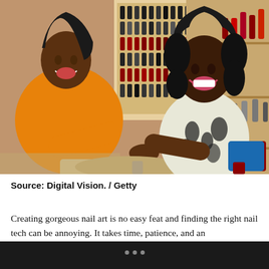[Figure (photo): Two women in a nail salon. On the left, a woman in an orange sweater laughs while having her nails done. On the right, a nail technician in a black and white floral top works on the client's nails. Behind them are shelves of nail polish bottles and salon supplies.]
Source: Digital Vision. / Getty
Creating gorgeous nail art is no easy feat and finding the right nail tech can be annoying. It takes time, patience, and an